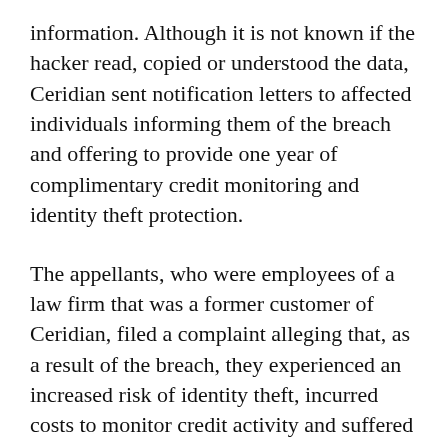information. Although it is not known if the hacker read, copied or understood the data, Ceridian sent notification letters to affected individuals informing them of the breach and offering to provide one year of complimentary credit monitoring and identity theft protection.
The appellants, who were employees of a law firm that was a former customer of Ceridian, filed a complaint alleging that, as a result of the breach, they experienced an increased risk of identity theft, incurred costs to monitor credit activity and suffered emotional distress. The U.S. District Court for the District of New Jersey granted Ceridian's motion to dismiss for lack of standing and failure to state a claim.